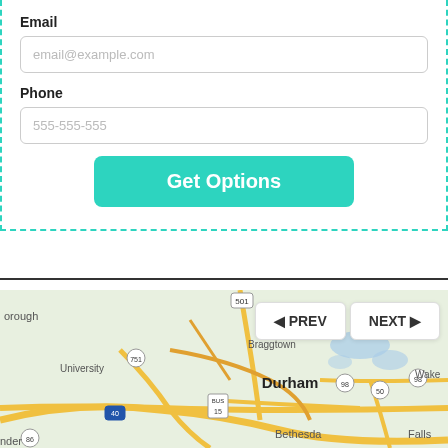Email
email@example.com
Phone
555-555-555
Get Options
[Figure (map): Google Maps view showing Durham, NC area with roads and surrounding towns including Braggtown, University, Bethesda, and Wake. Navigation buttons PREV and NEXT are overlaid on the map.]